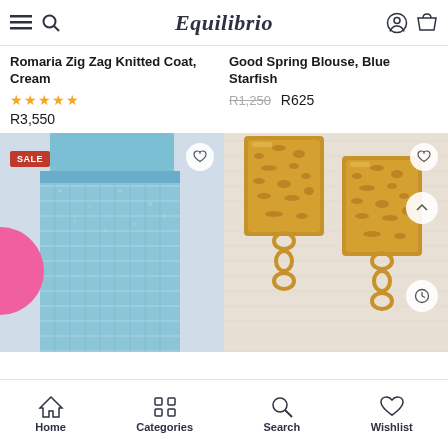Equilibrio
Romaria Zig Zag Knitted Coat, Cream
★★★★★ R3,550
Good Spring Blouse, Blue Starfish
R1,250  R625
[Figure (photo): Woman wearing blue tweed wide-leg pants with SALE badge and pink dot overlay]
[Figure (photo): Gold textured rectangular earrings on white background]
Home  Categories  Search  Wishlist